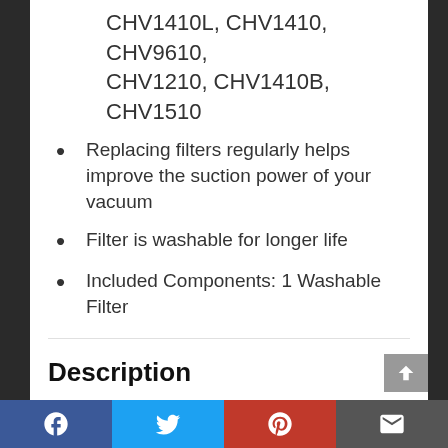CHV1410L, CHV1410, CHV9610, CHV1210, CHV1410B, CHV1510
Replacing filters regularly helps improve the suction power of your vacuum
Filter is washable for longer life
Included Components: 1 Washable Filter
Description
Package Quantity:1